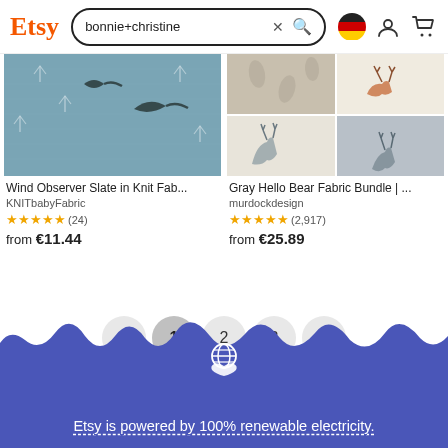Etsy — bonnie+christine search
[Figure (photo): Product photo: Wind Observer Slate in Knit Fabric, blue/gray bird print]
Wind Observer Slate in Knit Fab...
KNITbabyFabric
★★★★★ (24)
from €11.44
[Figure (photo): Product photo: Gray Hello Bear Fabric Bundle, deer/bear print mosaic]
Gray Hello Bear Fabric Bundle | ...
murdockdesign
★★★★★ (2,917)
from €25.89
← 1 2 3 →
Etsy is powered by 100% renewable electricity.